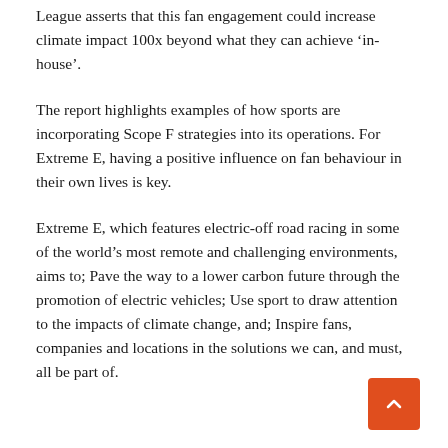League asserts that this fan engagement could increase climate impact 100x beyond what they can achieve ‘in-house’.
The report highlights examples of how sports are incorporating Scope F strategies into its operations. For Extreme E, having a positive influence on fan behaviour in their own lives is key.
Extreme E, which features electric-off road racing in some of the world’s most remote and challenging environments, aims to; Pave the way to a lower carbon future through the promotion of electric vehicles; Use sport to draw attention to the impacts of climate change, and; Inspire fans, companies and locations in the solutions we can, and must, all be part of.